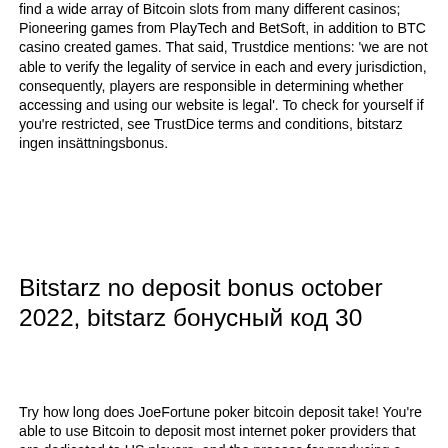find a wide array of Bitcoin slots from many different casinos; Pioneering games from PlayTech and BetSoft, in addition to BTC casino created games. That said, Trustdice mentions: 'we are not able to verify the legality of service in each and every jurisdiction, consequently, players are responsible in determining whether accessing and using our website is legal'. To check for yourself if you're restricted, see TrustDice terms and conditions, bitstarz ingen insättningsbonus.
Bitstarz no deposit bonus october 2022, bitstarz бонусный код 30
Try how long does JoeFortune poker bitcoin deposit take! You're able to use Bitcoin to deposit most internet poker providers that are dedicated to US players, and the process for producing a deposit is precisely